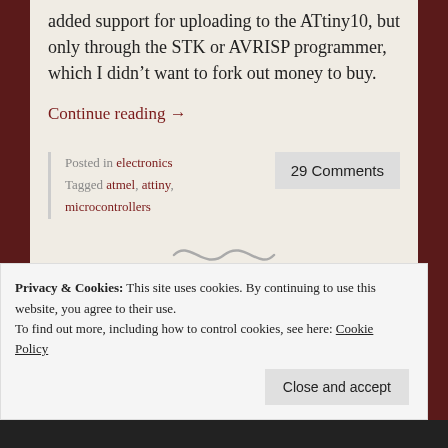added support for uploading to the ATtiny10, but only through the STK or AVRISP programmer, which I didn't want to fork out money to buy.
Continue reading →
Posted in electronics Tagged atmel, attiny, microcontrollers
29 Comments
Privacy & Cookies: This site uses cookies. By continuing to use this website, you agree to their use.
To find out more, including how to control cookies, see here: Cookie Policy
Close and accept